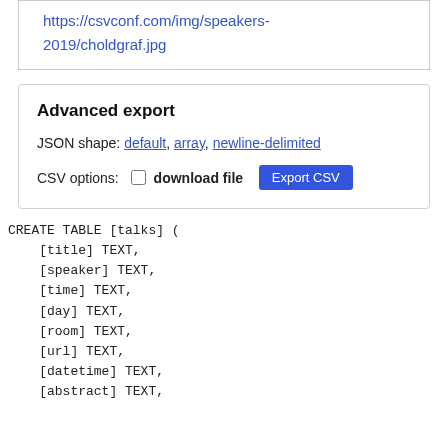https://csvconf.com/img/speakers-2019/choldgraf.jpg
Advanced export
JSON shape: default, array, newline-delimited
CSV options: □ download file  Export CSV
CREATE TABLE [talks] (
    [title] TEXT,
    [speaker] TEXT,
    [time] TEXT,
    [day] TEXT,
    [room] TEXT,
    [url] TEXT,
    [datetime] TEXT,
    [abstract] TEXT,